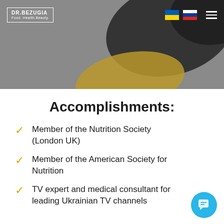[Figure (photo): Website header banner with dark and gold abstract shapes, navigation bar with Dr.Bezugia logo, Ukrainian and Russian flag icons, and hamburger menu icon]
Accomplishments:
Member of the Nutrition Society (London UK)
Member of the American Society for Nutrition
TV expert and medical consultant for leading Ukrainian TV channels